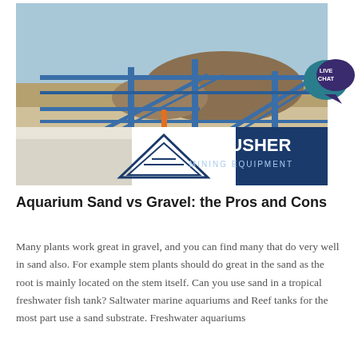[Figure (photo): Outdoor mining/quarrying facility with blue steel conveyor belt structures and industrial equipment. Blue sky with arid landscape in background. In the lower portion, an ACRUSHER MINING EQUIPMENT logo banner with a triangular logo on white background and bold dark blue text.]
Aquarium Sand vs Gravel: the Pros and Cons
Many plants work great in gravel, and you can find many that do very well in sand also. For example stem plants should do great in the sand as the root is mainly located on the stem itself. Can you use sand in a tropical freshwater fish tank? Saltwater marine aquariums and Reef tanks for the most part use a sand substrate. Freshwater aquariums